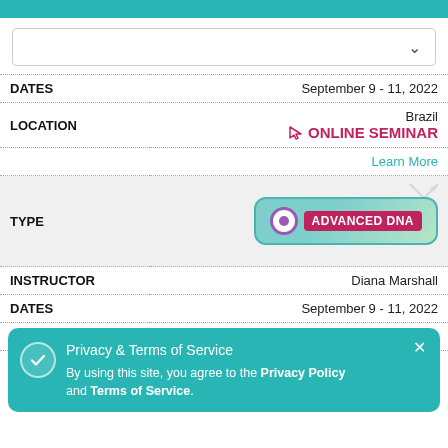[Figure (screenshot): Teal top navigation bar with dropdown selector showing chevron]
| Field | Value |
| --- | --- |
| DATES | September 9 - 11, 2022 |
| LOCATION | Brazil
ONLINE SEMINAR |
|  | Learn More |
| TYPE | ADVANCED DNA |
| INSTRUCTOR | Diana Marshall |
| DATES | September 9 - 11, 2022 |
| LOCATION | Avon, Colorado |
Privacy & Terms of Service
By using this site, you agree to the Privacy Policy and Terms of Service.